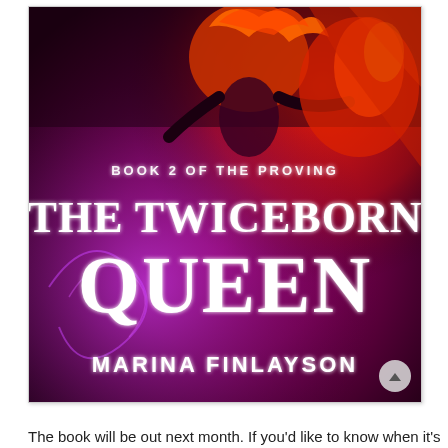[Figure (illustration): Book cover for 'The Twiceborn Queen' by Marina Finlayson. Book 2 of The Proving series. Dark fantasy cover featuring a figure with red and purple dramatic lighting, fire effects. Large serif title text 'THE TWICEBORN QUEEN' in white. Subtitle 'BOOK 2 OF THE PROVING' above the title. Author name 'MARINA FINLAYSON' at the bottom in white.]
The book will be out next month. If you'd like to know when it's